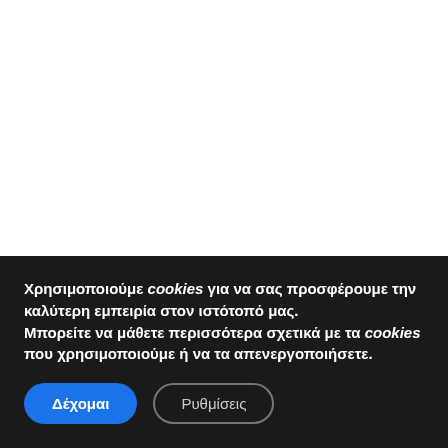[Figure (other): White blank area representing a webpage content area above a cookie consent banner]
Χρησιμοποιούμε cookies για να σας προσφέρουμε την καλύτερη εμπειρία στον ιστότοπό μας. Μπορείτε να μάθετε περισσότερα σχετικά με τα cookies που χρησιμοποιούμε ή να τα απενεργοποιήσετε.
Δέχομαι
Ρυθμίσεις